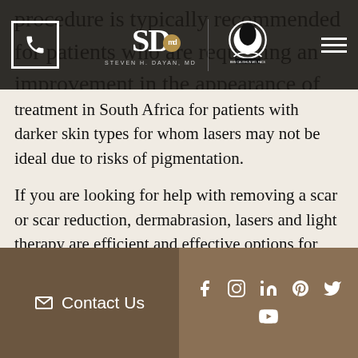[Figure (screenshot): Navigation bar with phone icon, SD md (Steven H. Dayan MD) logo, Chicago logo, and hamburger menu on dark background]
procedure is typically recommended for patients who are requesting an improvement in the appearance of their skin for acne or acne scarring, or post traumatic scars. A popular treatment in South Africa for patients with darker skin types for whom lasers may not be ideal due to risks of pigmentation.
If you are looking for help with removing a scar or scar reduction, dermabrasion, lasers and light therapy are efficient and effective options for many skin types. Lasers and light therapy can smooth and purify the skin. In addition to improving the appearance of scars, these in-office
Contact Us  f  in  ® Twitter  YouTube